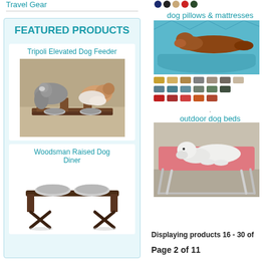Travel Gear
FEATURED PRODUCTS
Tripoli Elevated Dog Feeder
[Figure (photo): Two dogs eating from an elevated wooden dog feeder with metal bowls]
Woodsman Raised Dog Diner
[Figure (photo): Woodsman raised dog diner with two stainless steel bowls on a dark brown X-frame stand]
[Figure (photo): Color swatches - navy, black, tan, red, dark green]
dog pillows & mattresses
[Figure (photo): Dog lying on a teal/blue patterned pillow/mattress bed]
[Figure (photo): Grid of color swatches for dog pillow options]
.
outdoor dog beds
[Figure (photo): White dog resting on a pink elevated outdoor dog cot/bed with metal frame]
Displaying products 16 - 30 of
Page 2 of 11